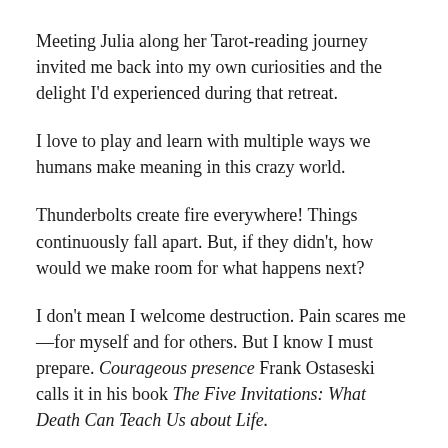Meeting Julia along her Tarot-reading journey invited me back into my own curiosities and the delight I'd experienced during that retreat.
I love to play and learn with multiple ways we humans make meaning in this crazy world.
Thunderbolts create fire everywhere! Things continuously fall apart. But, if they didn't, how would we make room for what happens next?
I don't mean I welcome destruction. Pain scares me—for myself and for others. But I know I must prepare. Courageous presence Frank Ostaseski calls it in his book The Five Invitations: What Death Can Teach Us about Life.
Be here for what is, Debra. Know you're going to screw